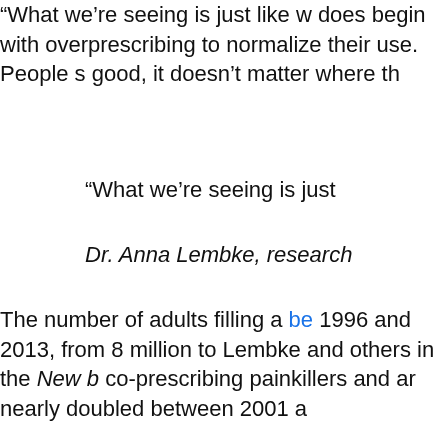“What we’re seeing is just like w does begin with overprescribing to normalize their use. People s good, it doesn’t matter where th
"What we’re seeing is just…"
Dr. Anna Lembke, research…
The number of adults filling a benzo prescription doubled between 1996 and 2013, from 8 million to… Lembke and others in the New England Journal of Medicine co-prescribing painkillers and an… nearly doubled between 2001 a…
Since then, prescriptions for ben… according to recent data from a… IQVIA Institute for Human Data S… by more than a fifth.
Still, Lembke said, the level of p… benzo dependence appears to b…
First marketed in the early 1960… their history. What’s notable now…